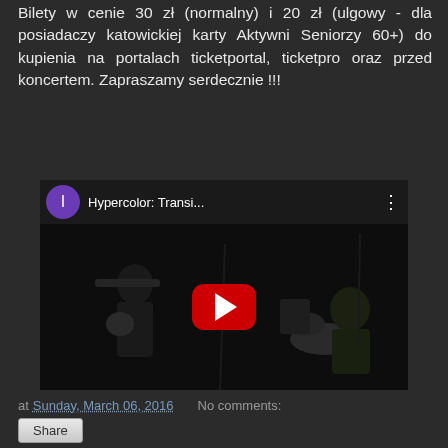Bilety w cenie 30 zł (normalny) i 20 zł (ulgowy - dla posiadaczy katowickiej karty Aktywni Seniorzy 60+) do kupienia na portalach ticketportal, ticketpro oraz przed koncertem. Zapraszamy serdecznie !!!
[Figure (screenshot): YouTube video embed showing 'Hypercolor: Transi...' with a purple avatar icon, video thumbnail of a band performing on a dark stage, and a red YouTube play button in the center.]
at Sunday, March 06, 2016   No comments:
Share